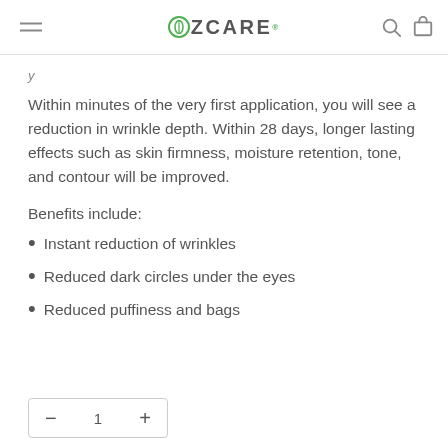OZCARE
Within minutes of the very first application, you will see a reduction in wrinkle depth. Within 28 days, longer lasting effects such as skin firmness, moisture retention, tone, and contour will be improved.
Benefits include:
Instant reduction of wrinkles
Reduced dark circles under the eyes
Reduced puffiness and bags